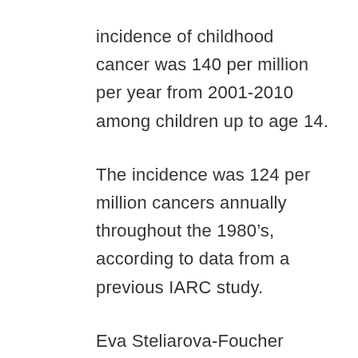incidence of childhood cancer was 140 per million per year from 2001-2010 among children up to age 14.
The incidence was 124 per million cancers annually throughout the 1980’s, according to data from a previous IARC study.
Eva Steliarova-Foucher works in the cancer surveillance section of the IARC, which is part of the WHO.